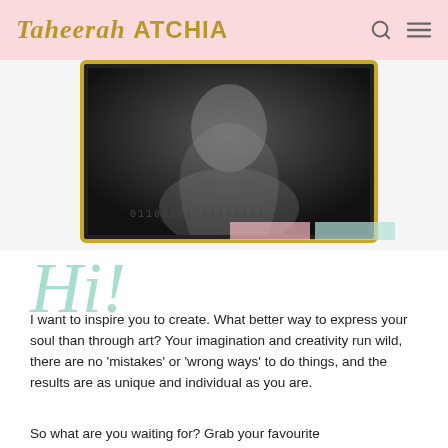Taheerah ATCHIA
[Figure (photo): Black and white photo of a woman with dark hair, shown on a monitor/screen with a gold glitter border. Binary code text visible below: 01101101 01100101. Pink and mint colored bars at the bottom.]
Hi!
I want to inspire you to create. What better way to express your soul than through art? Your imagination and creativity run wild, there are no ‘mistakes’ or ‘wrong ways’ to do things, and the results are as unique and individual as you are.
So what are you waiting for? Grab your favourite